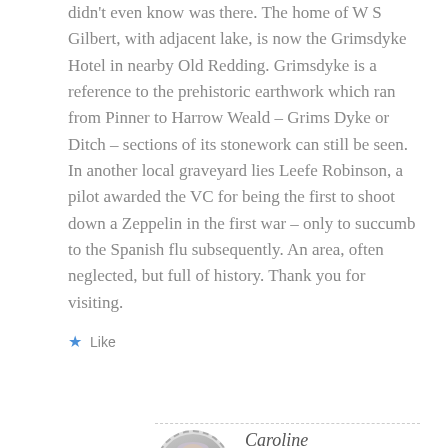didn't even know was there. The home of W S Gilbert, with adjacent lake, is now the Grimsdyke Hotel in nearby Old Redding. Grimsdyke is a reference to the prehistoric earthwork which ran from Pinner to Harrow Weald – Grims Dyke or Ditch – sections of its stonework can still be seen. In another local graveyard lies Leefe Robinson, a pilot awarded the VC for being the first to shoot down a Zeppelin in the first war – only to succumb to the Spanish flu subsequently. An area, often neglected, but full of history. Thank you for visiting.
Like
Reply
Caroline
OCTOBER 13, 2014 AT 4:18 PM